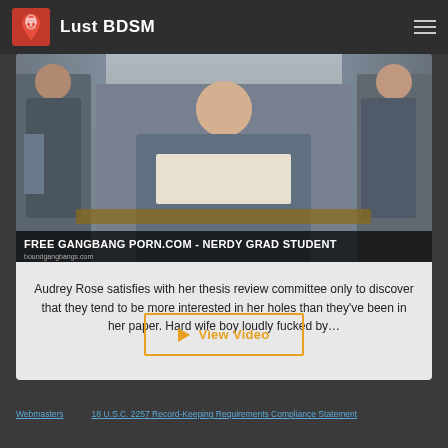Lust BDSM
[Figure (photo): Video thumbnail showing people in an office/classroom setting, with overlay title text: FREE GANGBANG PORN.COM - NERDY GRAD STUDENT and URL: boundgangbangs.com]
Audrey Rose satisfies with her thesis review committee only to discover that they tend to be more interested in her holes than they've been in her paper. Hard wife boy loudly fucked by…
▶ View Video
Webmasters   18 U.S.C. 2257 Record-Keeping Requirements Compliance Statement